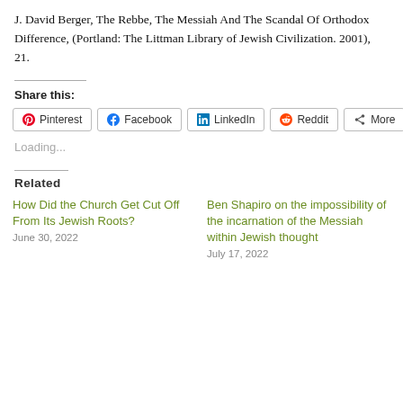J. David Berger, The Rebbe, The Messiah And The Scandal Of Orthodox Difference, (Portland: The Littman Library of Jewish Civilization. 2001), 21.
Share this:
[Figure (screenshot): Social share buttons: Pinterest, Facebook, LinkedIn, Reddit, More]
Loading...
Related
How Did the Church Get Cut Off From Its Jewish Roots?
June 30, 2022
Ben Shapiro on the impossibility of the incarnation of the Messiah within Jewish thought
July 17, 2022